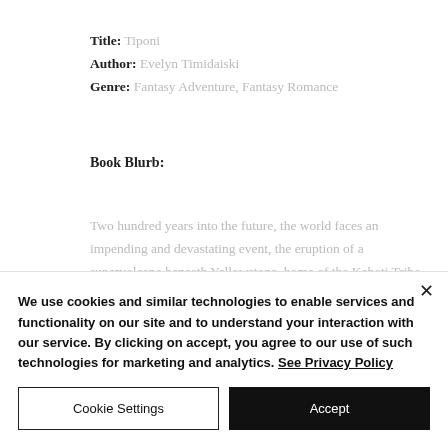Title: Tiponi
Author: Evelyn Timidaiski
Genre: Fantasy Adventure, Fantasy Romance
Book Blurb:
Two hundred years into the future, the world faces an impending and devastating event, the eruption of a supervolcano beneath Yellowstone, home of the Kahoti Tribe. They
We use cookies and similar technologies to enable services and functionality on our site and to understand your interaction with our service. By clicking on accept, you agree to our use of such technologies for marketing and analytics. See Privacy Policy
Cookie Settings
Accept